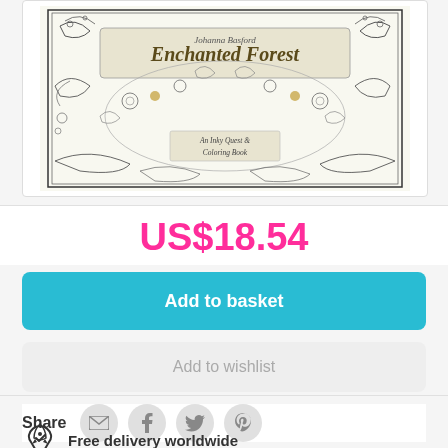[Figure (illustration): Book cover of 'Enchanted Forest: An Inky Quest & Coloring Book' by Johanna Basford, showing intricate black and white nature illustrations with some gold accents.]
US$18.54
Add to basket
Add to wishlist
Share
Free delivery worldwide